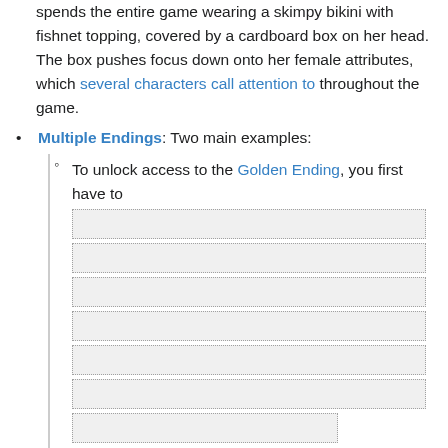spends the entire game wearing a skimpy bikini with fishnet topping, covered by a cardboard box on her head. The box pushes focus down onto her female attributes, which several characters call attention to throughout the game.
Multiple Endings: Two main examples:
To unlock access to the Golden Ending, you first have to [spoiler redacted]
Separate from the main ending, if you maxed a character's Affinity, you can see a special ending involving Alto and that character. If multiple characters' Affinities are maxed, you can only pick one of them; to view the others with minimal hassle, you should make